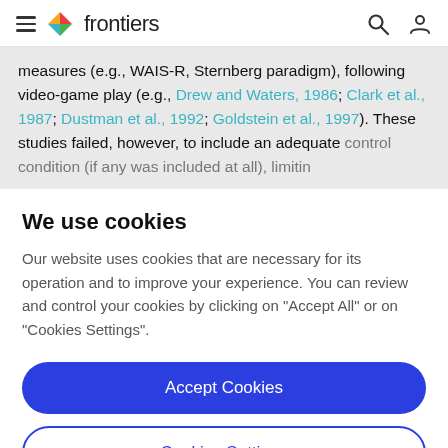frontiers
measures (e.g., WAIS-R, Sternberg paradigm), following video-game play (e.g., Drew and Waters, 1986; Clark et al., 1987; Dustman et al., 1992; Goldstein et al., 1997). These studies failed, however, to include an adequate control condition (if any was included at all), limiting
We use cookies
Our website uses cookies that are necessary for its operation and to improve your experience. You can review and control your cookies by clicking on "Accept All" or on "Cookies Settings".
Accept Cookies
Cookies Settings